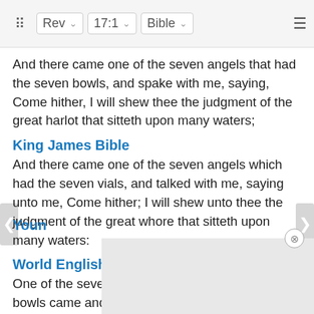Rev  17:1  Bible
And there came one of the seven angels that had the seven bowls, and spake with me, saying, Come hither, I will shew thee the judgment of the great harlot that sitteth upon many waters;
King James Bible
And there came one of the seven angels which had the seven vials, and talked with me, saying unto me, Come hither; I will shew unto thee the judgment of the great whore that sitteth upon many waters:
World English Bible
One of the seven angels who had the seven bowls came and spoke with me, saying, "Come here. I will show you the judgment of the great prostitute who sits on many waters
Youn